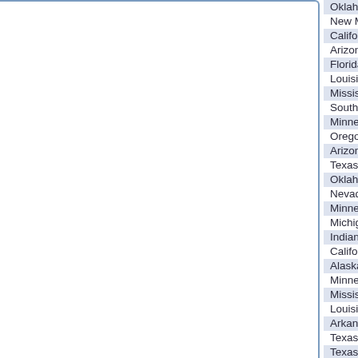| State | Type |
| --- | --- |
| Oklahoma | Urb… |
| New Mexico | Urb… |
| California | Urb… |
| Arizona | Urb… |
| Florida | Urb… |
| Louisiana | Urb… |
| Mississippi | Urb… |
| South Dakota | Urb… |
| Minnesota | Seve… |
| Oregon | Air S… |
| Arizona | Air S… |
| Texas | Spe… |
| Oklahoma | Spe… |
| Nevada | Spe… |
| Minnesota | Spe… |
| Michigan | Spe… |
| Indiana | Spe… |
| California | Spe… |
| Alaska | Spe… |
| Minnesota | Seve… |
| Mississippi | Flas… |
| Louisiana | Flas… |
| Arkansas | Flas… |
| Texas | Flas… |
| Texas | Seve… |